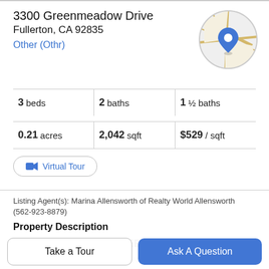3300 Greenmeadow Drive
Fullerton, CA 92835
Other (Othr)
[Figure (map): Circular map thumbnail with a blue location pin marker showing the property location in Fullerton, CA]
3 beds | 2 baths | 1 ½ baths
0.21 acres | 2,042 sqft | $529 / sqft
Virtual Tour
Listing Agent(s): Marina Allensworth of Realty World Allensworth (562-923-8879)
Property Description
WELCOME TO 3300 GREENMEADOW DR IN
FULLERTON. FIRST TIME ON THE MARKET IN OVER